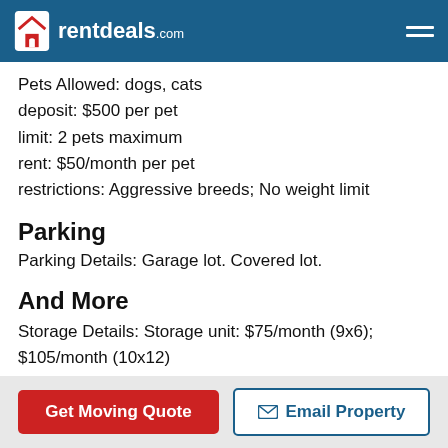rentdeals.com
Pets Allowed: dogs, cats
deposit: $500 per pet
limit: 2 pets maximum
rent: $50/month per pet
restrictions: Aggressive breeds; No weight limit
Parking
Parking Details: Garage lot. Covered lot.
And More
Storage Details: Storage unit: $75/month (9x6); $105/month (10x12)
Furnished Details: Furnished apartments often have extra fees beyond the rent listed. Please contact for
Get Moving Quote | Email Property